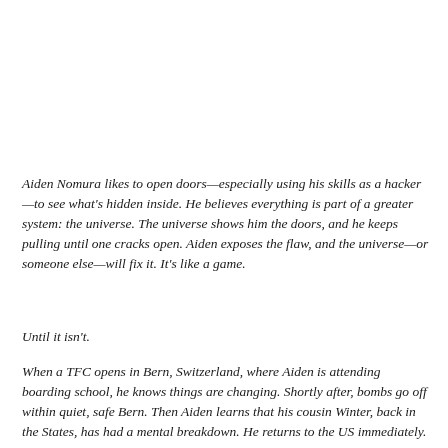Aiden Nomura likes to open doors—especially using his skills as a hacker—to see what's hidden inside. He believes everything is part of a greater system: the universe. The universe shows him the doors, and he keeps pulling until one cracks open. Aiden exposes the flaw, and the universe—or someone else—will fix it. It's like a game.
Until it isn't.
When a TFC opens in Bern, Switzerland, where Aiden is attending boarding school, he knows things are changing. Shortly after, bombs go off within quiet, safe Bern. Then Aiden learns that his cousin Winter, back in the States, has had a mental breakdown. He returns to the US immediately.